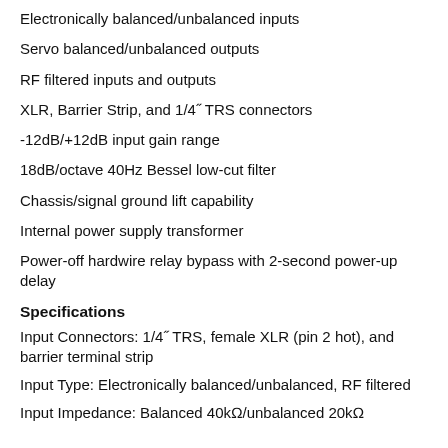Electronically balanced/unbalanced inputs
Servo balanced/unbalanced outputs
RF filtered inputs and outputs
XLR, Barrier Strip, and 1/4˝ TRS connectors
-12dB/+12dB input gain range
18dB/octave 40Hz Bessel low-cut filter
Chassis/signal ground lift capability
Internal power supply transformer
Power-off hardwire relay bypass with 2-second power-up delay
Specifications
Input Connectors: 1/4˝ TRS, female XLR (pin 2 hot), and barrier terminal strip
Input Type: Electronically balanced/unbalanced, RF filtered
Input Impedance: Balanced 40kΩ/unbalanced 20kΩ